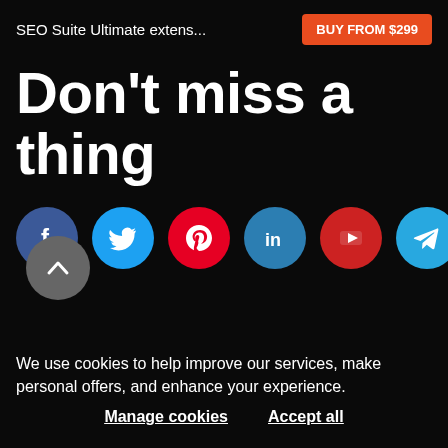SEO Suite Ultimate extens...
BUY FROM $299
Don’t miss a thing
[Figure (infographic): Row of social media icons: Facebook (blue), Twitter (light blue), Pinterest (red), LinkedIn (blue), YouTube (red), Telegram (light blue)]
[Figure (other): Gray circular scroll-to-top button with upward chevron arrow]
We use cookies to help improve our services, make personal offers, and enhance your experience.
Manage cookies   Accept all